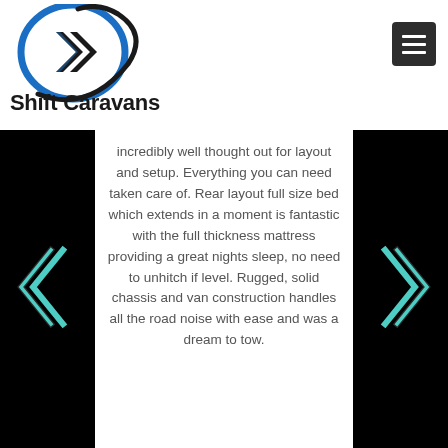[Figure (logo): Shift Caravans logo — circular blue ring with dark chevron/arrow shapes inside, with a stylized swoosh element]
Shift Caravans
[Figure (other): Hamburger menu button (dark square with three white horizontal lines)]
incredibly well thought out for layout and setup. Everything you can need taken care of. Rear layout full size bed which extends in a moment is fantastic with the full thickness mattress providing a great nights sleep, no need to unhitch if level. Rugged, solid chassis and van construction handles all the road noise with ease and was a dream to tow.
[Figure (other): Left navigation arrow (double chevron pointing left, teal/dark outline on black background)]
[Figure (other): Right navigation arrow (double chevron pointing right, teal/dark outline on black background)]